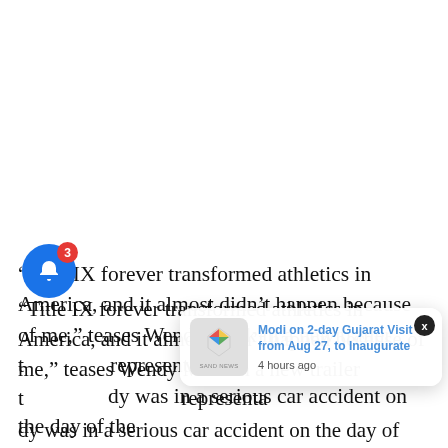“Title IX forever transformed athletics in America, and it almost didn’t happen because of me,” teases Wendy Mink in a new trailer t… representa… dy was in a serious car accident on the day of the … the future of Title IX hang in the balance.
[Figure (screenshot): A notification popup showing a news item: 'Modi on 2-day Gujarat Visit from Aug 27, to Inaugurate' with timestamp '4 hours ago'. The popup has a colorful diamond-shaped logo for 'SAND NEWS' on the left and a close (X) button in the top right. A blue notification bell button with a red badge showing '3' is visible in the bottom left.]